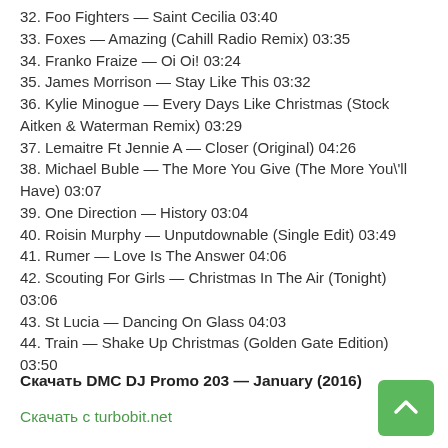32. Foo Fighters — Saint Cecilia 03:40
33. Foxes — Amazing (Cahill Radio Remix) 03:35
34. Franko Fraize — Oi Oi! 03:24
35. James Morrison — Stay Like This 03:32
36. Kylie Minogue — Every Days Like Christmas (Stock Aitken & Waterman Remix) 03:29
37. Lemaitre Ft Jennie A — Closer (Original) 04:26
38. Michael Buble — The More You Give (The More You\'ll Have) 03:07
39. One Direction — History 03:04
40. Roisin Murphy — Unputdownable (Single Edit) 03:49
41. Rumer — Love Is The Answer 04:06
42. Scouting For Girls — Christmas In The Air (Tonight) 03:06
43. St Lucia — Dancing On Glass 04:03
44. Train — Shake Up Christmas (Golden Gate Edition) 03:50
Скачать DMC DJ Promo 203 — January (2016)
Скачать с turbobit.net